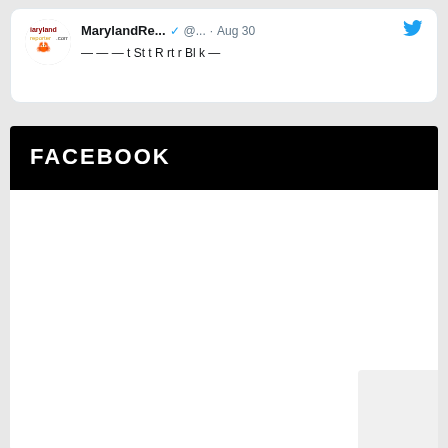[Figure (screenshot): Partial Twitter/X card showing MarylandRe... account with verified badge, @... handle, Aug 30 date, and Twitter bird icon. Truncated tweet text visible below the header.]
FACEBOOK